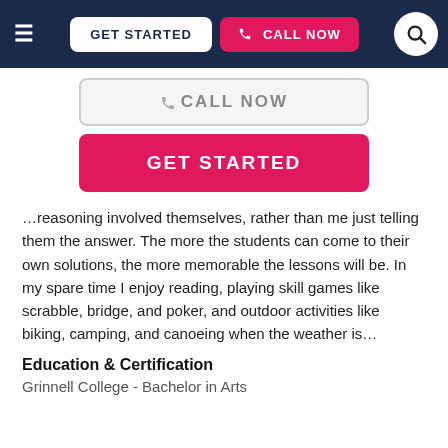≡  GET STARTED  📞 CALL NOW  🔍
[Figure (screenshot): Partial 'CALL NOW' button with phone icon, grey outlined style]
[Figure (screenshot): Pink 'GET STARTED' button]
…reasoning involved themselves, rather than me just telling them the answer. The more the students can come to their own solutions, the more memorable the lessons will be. In my spare time I enjoy reading, playing skill games like scrabble, bridge, and poker, and outdoor activities like biking, camping, and canoeing when the weather is…
Education & Certification
Grinnell College - Bachelor in Arts